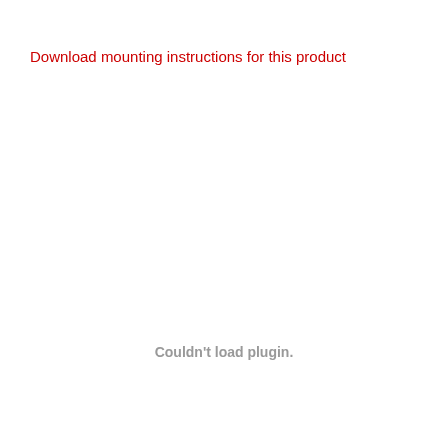Download mounting instructions for this product
Couldn't load plugin.